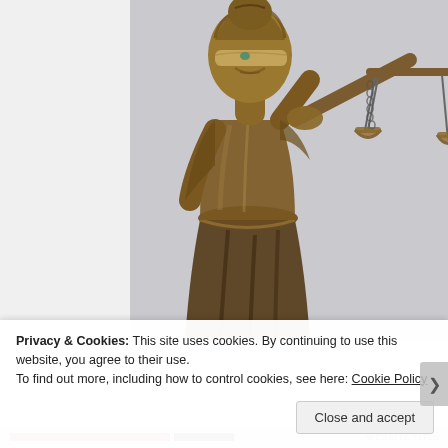[Figure (photo): Bronze Lady Justice statue (Justitia) with blindfold and scales of justice held aloft, cropped to show upper torso and scales, with light grey background. Left portion of image has a lighter white/grey column strip.]
Privacy & Cookies: This site uses cookies. By continuing to use this website, you agree to their use.
To find out more, including how to control cookies, see here: Cookie Policy
Close and accept